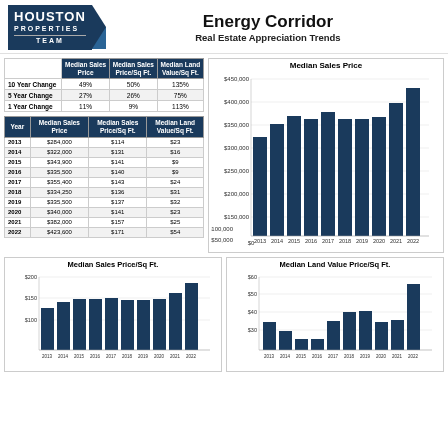Houston Properties Team
Energy Corridor
Real Estate Appreciation Trends
|  | Median Sales Price | Median Sales Price/Sq Ft. | Median Land Value/Sq Ft. |
| --- | --- | --- | --- |
| 10 Year Change | 49% | 50% | 135% |
| 5 Year Change | 27% | 26% | 75% |
| 1 Year Change | 11% | 9% | 113% |
| Year | Median Sales Price | Median Sales Price/Sq Ft. | Median Land Value/Sq Ft. |
| --- | --- | --- | --- |
| 2013 | $284,000 | $114 | $23 |
| 2014 | $322,000 | $131 | $16 |
| 2015 | $343,900 | $141 | $9 |
| 2016 | $335,500 | $140 | $9 |
| 2017 | $355,400 | $143 | $24 |
| 2018 | $334,250 | $136 | $31 |
| 2019 | $335,500 | $137 | $32 |
| 2020 | $340,000 | $141 | $23 |
| 2021 | $382,000 | $157 | $25 |
| 2022 | $423,600 | $171 | $54 |
[Figure (bar-chart): Median Sales Price]
[Figure (bar-chart): Median Sales Price/Sq Ft.]
[Figure (bar-chart): Median Land Value Price/Sq Ft.]